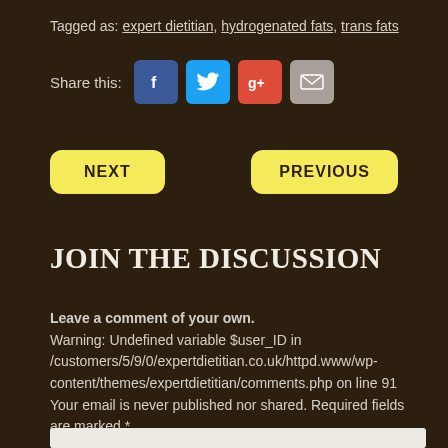Tagged as: expert dietitian, hydrogenated fats, trans fats
[Figure (infographic): Share this row with Facebook, Twitter, Google+, and email icon buttons]
NEXT    PREVIOUS
JOIN THE DISCUSSION
Leave a comment of your own.
Warning: Undefined variable $user_ID in /customers/5/9/0/expertdietitian.co.uk/httpd.www/wp-content/themes/expertdietitian/comments.php on line 91
Your email is never published nor shared. Required fields are marked *
Name: *